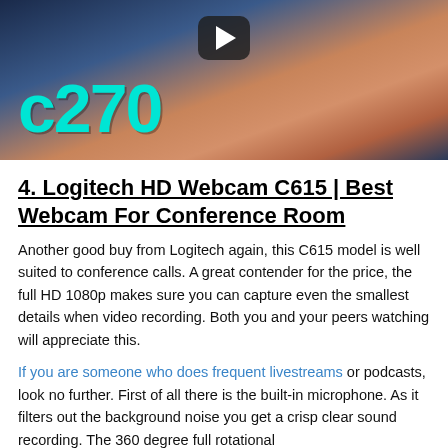[Figure (screenshot): Video thumbnail showing a close-up of a webcam device with large cyan text 'C270' overlay and a play button at the top center]
4. Logitech HD Webcam C615 | Best Webcam For Conference Room
Another good buy from Logitech again, this C615 model is well suited to conference calls. A great contender for the price, the full HD 1080p makes sure you can capture even the smallest details when video recording. Both you and your peers watching will appreciate this.
If you are someone who does frequent livestreams or podcasts, look no further. First of all there is the built-in microphone. As it filters out the background noise you get a crisp clear sound recording. The 360 degree full rotational